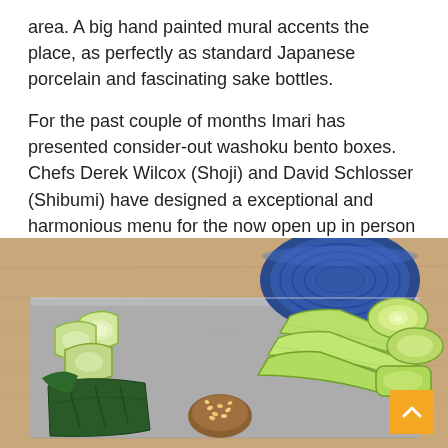area. A big hand painted mural accents the place, as perfectly as standard Japanese porcelain and fascinating sake bottles.
For the past couple of months Imari has presented consider-out washoku bento boxes. Chefs Derek Wilcox (Shoji) and David Schlosser (Shibumi) have designed a exceptional and harmonious menu for the now open up in person dining at Imari.
[Figure (photo): A wooden serving board with sliced cucumbers (quartered rounds on left, long spears on right), dark green pickled vegetables (bottom left), a miso/sesame dipping sauce (center bottom), and a blue Japanese ceramic bowl in the upper right corner.]